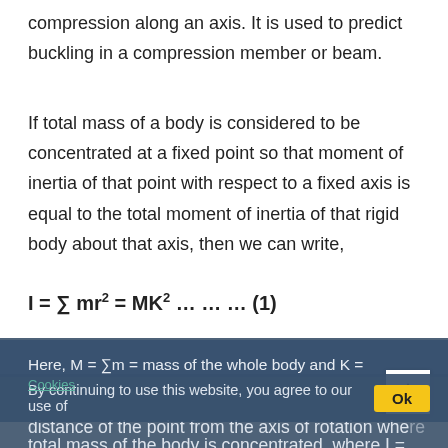compression along an axis. It is used to predict buckling in a compression member or beam.
If total mass of a body is considered to be concentrated at a fixed point so that moment of inertia of that point with respect to a fixed axis is equal to the total moment of inertia of that rigid body about that axis, then we can write,
Here, M = ∑m = mass of the whole body and K = distance of the point from the axis of rotation where total mass of the body is concentrated. where I = second moment of area
A = area of material in the cross-section